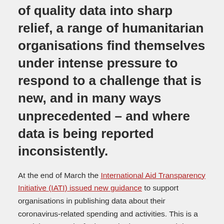of quality data into sharp relief, a range of humanitarian organisations find themselves under intense pressure to respond to a challenge that is new, and in many ways unprecedented – and where data is being reported inconsistently.
At the end of March the International Aid Transparency Initiative (IATI) issued new guidance to support organisations in publishing data about their coronavirus-related spending and activities. This is a crucial opportunity for humanitarian actors and donors to support one another, and to build an evidence base that could be used to influence governments in their response to the crisis – and ultimately to coordinate a global response, ensuring scarce resources are